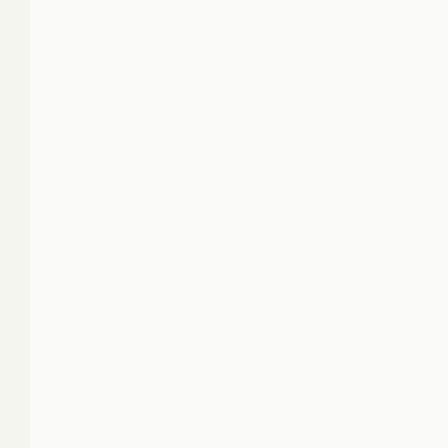| dc.publisher |
| dc.relation.uri |
| dc.subject.ddc |
| dc.title |
| dc.type |
| utue.quellen.id |
| utue.personen.roh |
| utue.personen.roh |
| utue.personen.roh |
| utue.personen.roh |
| utue.personen.roh |
| utue.personen.roh |
| utue.personen.roh |